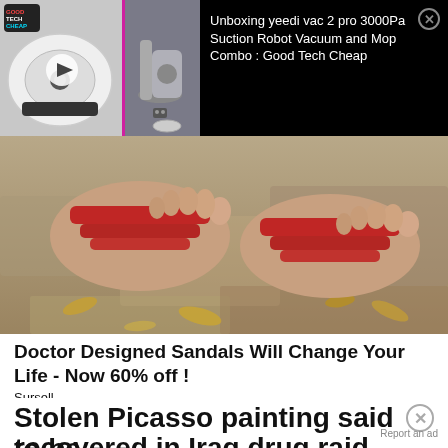[Figure (screenshot): Video ad thumbnail showing a yeedi robot vacuum cleaner with Good Tech Cheap logo, play button overlay, and side image of robot vacuum with charging station]
Unboxing yeedi vac 2 pro 3000Pa Suction Robot Vacuum and Mop Combo : Good Tech Cheap
[Figure (photo): Close-up photo of feet wearing red sandals on a stone or tiled surface with fallen leaves]
Doctor Designed Sandals Will Change Your Life - Now 60% off !
Sursell
Stolen Picasso painting said to be recovered in Iraq drug raid
Report an ad
[Figure (screenshot): Disney Bundle advertisement banner showing Hulu, Disney+, and ESPN+ logos with text GET THE DISNEY BUNDLE]